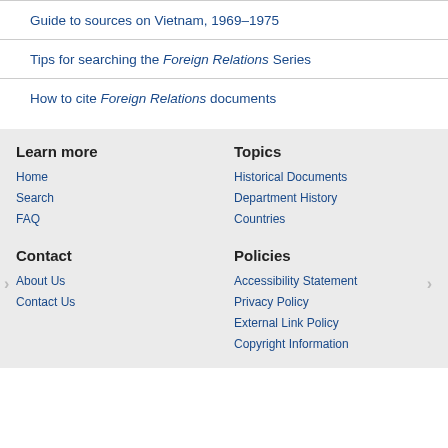Guide to sources on Vietnam, 1969–1975
Tips for searching the Foreign Relations Series
How to cite Foreign Relations documents
Learn more
Home
Search
FAQ
Topics
Historical Documents
Department History
Countries
Contact
About Us
Contact Us
Policies
Accessibility Statement
Privacy Policy
External Link Policy
Copyright Information